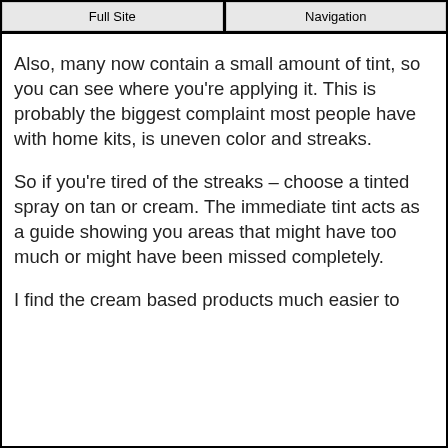Full Site | Navigation
Also, many now contain a small amount of tint, so you can see where you're applying it. This is probably the biggest complaint most people have with home kits, is uneven color and streaks.
So if you're tired of the streaks – choose a tinted spray on tan or cream. The immediate tint acts as a guide showing you areas that might have too much or might have been missed completely.
I find the cream based products much easier to